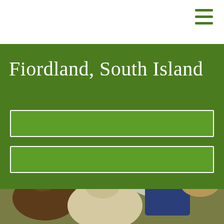[Figure (other): Hamburger menu icon (three horizontal green lines) in top-right corner of white navigation bar]
Fiordland, South Island
[Figure (other): Two empty green search/input boxes with white borders on a green background panel]
[Figure (photo): A smiling young blond child wearing a wide-brimmed brown hat standing among alpacas/llamas on a farm, with trees and fence visible in the background]